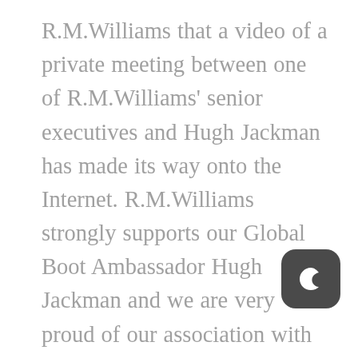R.M.Williams that a video of a private meeting between one of R.M.Williams' senior executives and Hugh Jackman has made its way onto the Internet. R.M.Williams strongly supports our Global Boot Ambassador Hugh Jackman and we are very proud of our association with this truly undeniable character. Our beautiful and purposefully designed footwear is built using 80 hand-crafted processes to deliver superior comfort. Indeed, perhaps too much comfort. To be R.M.Williams encourages all people –
[Figure (illustration): Dark rounded square icon with a crescent moon symbol in white, resembling a night mode toggle button]